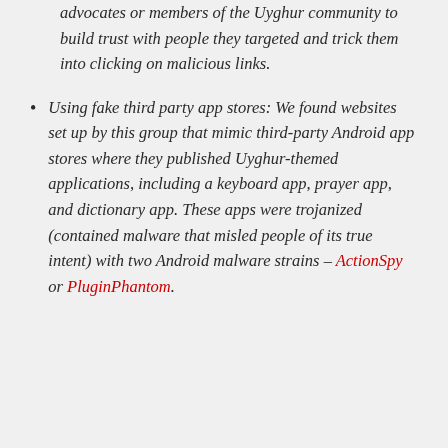advocates or members of the Uyghur community to build trust with people they targeted and trick them into clicking on malicious links.
Using fake third party app stores: We found websites set up by this group that mimic third-party Android app stores where they published Uyghur-themed applications, including a keyboard app, prayer app, and dictionary app. These apps were trojanized (contained malware that misled people of its true intent) with two Android malware strains – ActionSpy or PluginPhantom.